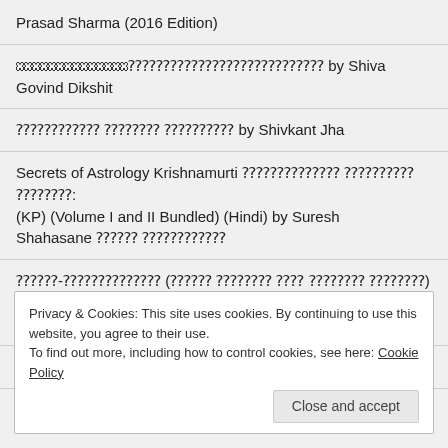Prasad Sharma (2016 Edition)
⁇⁇⁇⁇⁇⁇⁇⁇⁇⁇⁇⁇⁇⁇ by Shiva Govind Dikshit
⁇⁇⁇⁇⁇⁇ ⁇⁇⁇⁇ ⁇⁇⁇⁇⁇ by Shivkant Jha
Secrets of Astrology Krishnamurti ⁇⁇⁇⁇⁇⁇⁇ ⁇⁇⁇⁇⁇ ⁇⁇⁇: (KP) (Volume I and II Bundled) (Hindi) by Suresh Shahasane ⁇⁇⁇ ⁇⁇⁇⁇⁇⁇
⁇⁇⁇-⁇⁇⁇⁇⁇⁇⁇ (⁇⁇⁇ ⁇⁇⁇⁇ ⁇⁇ ⁇⁇⁇⁇ ⁇⁇⁇⁇) by Mukund Vallabh Mishr
⁇⁇⁇⁇⁇⁇(⁇⁇ ⁇⁇ ⁇⁇ ⁇⁇⁇) by Durga Prasad Shukla
Privacy & Cookies: This site uses cookies. By continuing to use this website, you agree to their use. To find out more, including how to control cookies, see here: Cookie Policy